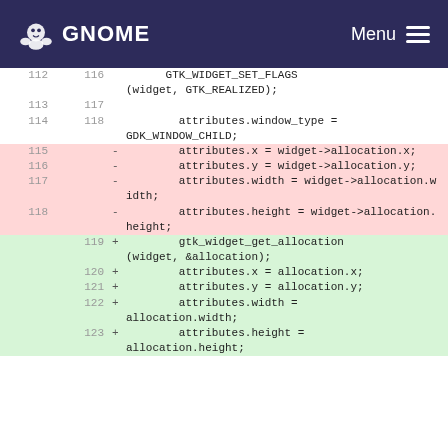GNOME  Menu
Code diff showing lines 112-123 of a GTK widget source file. Lines 112-118 show neutral and deleted code, lines 119-123 show added code replacing widget->allocation direct access with gtk_widget_get_allocation().